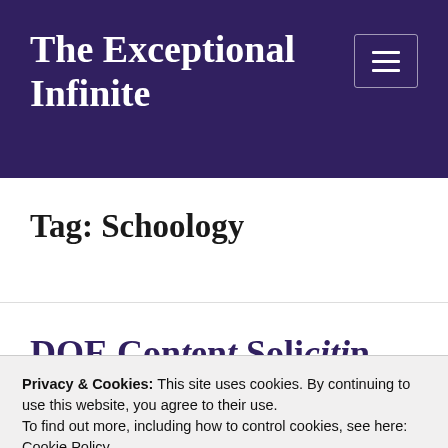The Exceptional Infinite
Tag: Schoolology
Privacy & Cookies: This site uses cookies. By continuing to use this website, you agree to their use.
To find out more, including how to control cookies, see here: Cookie Policy
Close and accept